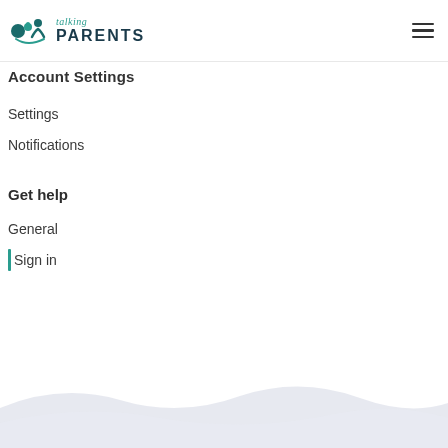[Figure (logo): TalkingParents logo with teal figure icons and text 'talking PARENTS']
Account Settings
Settings
Notifications
Get help
General
Sign in
[Figure (illustration): Light lavender/grey wave decorative footer shape]